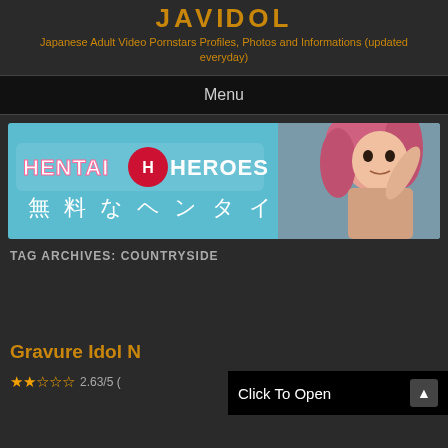Japanese Adult Video Pornstars Profiles, Photos and Informations (updated everyday)
Menu
[Figure (illustration): Hentai Heroes advertisement banner with anime character and text '無料なヘンタイ']
TAG ARCHIVES: COUNTRYSIDE
Gravure Idol N
2.63/5
Click To Open